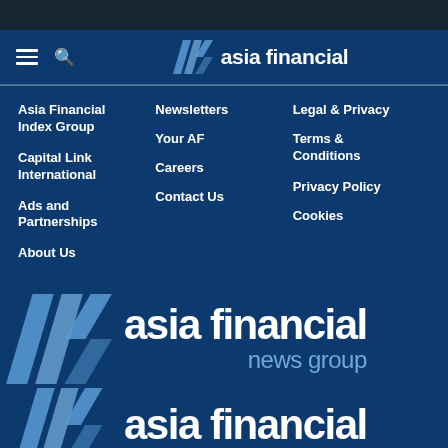asia financial
Asia Financial Index Group
Capital Link International
Ads and Partnerships
About Us
Newsletters
Your AF
Careers
Contact Us
Legal & Privacy
Terms & Conditions
Privacy Policy
Cookies
[Figure (logo): Asia Financial News Group large footer logo with AF chevron icon and text 'asia financial news group']